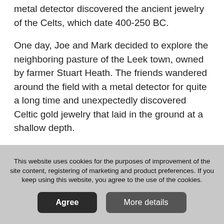metal detector discovered the ancient jewelry of the Celts, which date 400-250 BC.
One day, Joe and Mark decided to explore the neighboring pasture of the Leek town, owned by farmer Stuart Heath. The friends wandered around the field with a metal detector for quite a long time and unexpectedly discovered Celtic gold jewelry that laid in the ground at a shallow depth.
In the photo: Joe Kania and Mark Hambleton hold the gold jewelry of the Celtic craftsmanship.
Friends were lost for words when they found
This website uses cookies for the purposes of improvement of the site content, registering of marketing and product preferences. If you keep using this website, you agree to the use of the cookies.